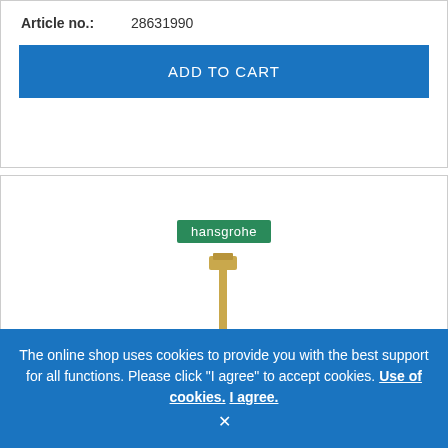Article no.:  28631990
ADD TO CART
[Figure (photo): Hansgrohe shower slide rail bar in brushed gold/brass finish, vertical, with a sliding holder in the middle and mounting brackets at top and bottom]
The online shop uses cookies to provide you with the best support for all functions. Please click "I agree" to accept cookies. Use of cookies. I agree. ×